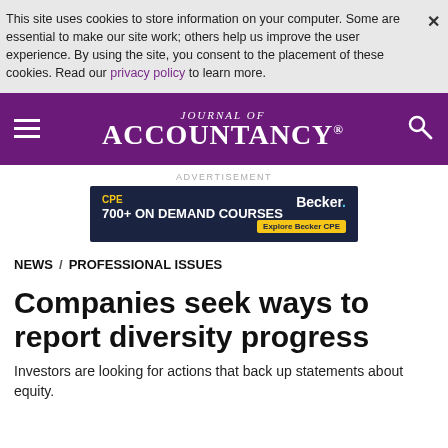This site uses cookies to store information on your computer. Some are essential to make our site work; others help us improve the user experience. By using the site, you consent to the placement of these cookies. Read our privacy policy to learn more.
JOURNAL OF ACCOUNTANCY®
[Figure (screenshot): Becker CPE advertisement banner: CPE 700+ ON DEMAND COURSES | Becker. Explore Becker CPE]
ADVERTISEMENT
NEWS / PROFESSIONAL ISSUES
Companies seek ways to report diversity progress
Investors are looking for actions that back up statements about equity.